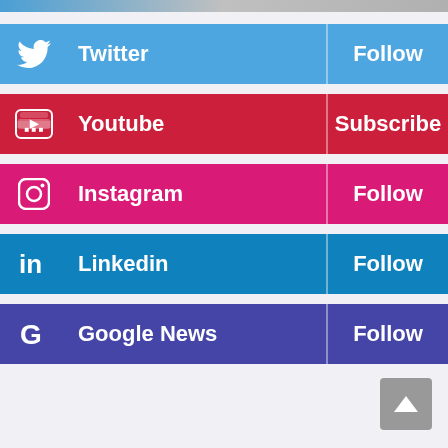Twitter - Follow
Youtube - Subscribe
Instagram - Follow
Linkedin - Follow
Google News - Follow